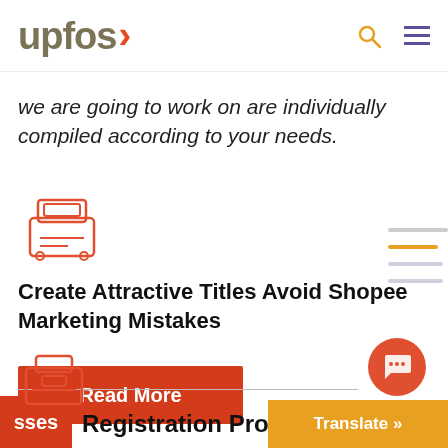upfos
we are going to work on are individually compiled according to your needs.
[Figure (illustration): Red outline icon of a cash register / point-of-sale terminal]
Create Attractive Titles  Avoid Shopee Marketing Mistakes
[Figure (illustration): Red outline icon of a briefcase/register at bottom of page]
Registration Process
Read More
sses
Translate »